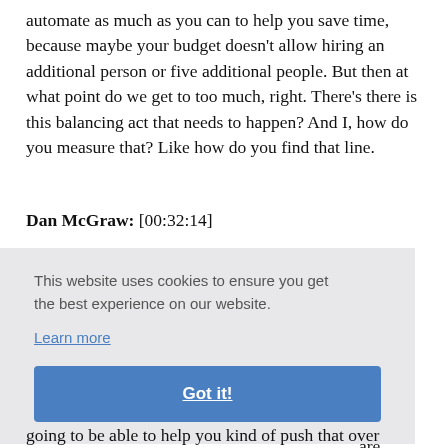automate as much as you can to help you save time, because maybe your budget doesn't allow hiring an additional person or five additional people. But then at what point do we get to too much, right. There's there is this balancing act that needs to happen? And I, how do you measure that? Like how do you find that line.
Dan McGraw: [00:32:14]
[Figure (screenshot): Cookie consent banner with text 'This website uses cookies to ensure you get the best experience on our website.' with a 'Learn more' link and a 'Got it!' button. Partially overlays body text.]
going to be able to help you kind of push that over